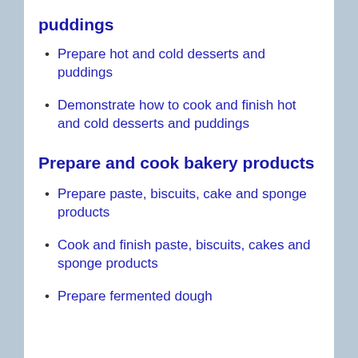puddings
Prepare hot and cold desserts and puddings
Demonstrate how to cook and finish hot and cold desserts and puddings
Prepare and cook bakery products
Prepare paste, biscuits, cake and sponge products
Cook and finish paste, biscuits, cakes and sponge products
Prepare fermented dough